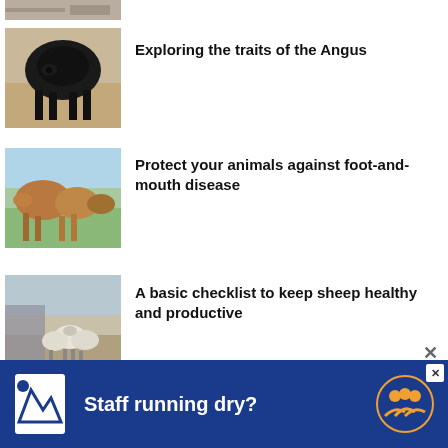[Figure (photo): Partial view of a cropped image at top of page]
[Figure (photo): Black Angus cattle standing in a field]
Exploring the traits of the Angus
[Figure (photo): Brown cattle standing in a green field]
Protect your animals against foot-and-mouth disease
[Figure (photo): Sheep standing near a shed]
A basic checklist to keep sheep healthy and productive
[Figure (infographic): Advertisement banner: Staff running dry? with logo and people icon]